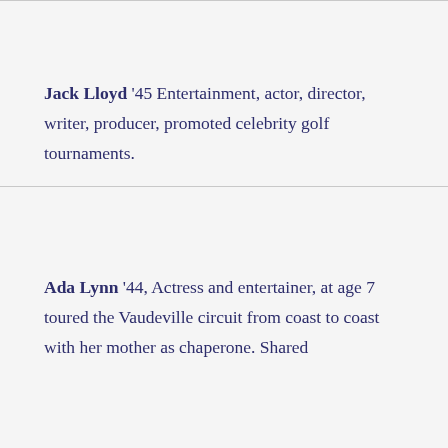Jack Lloyd '45 Entertainment, actor, director, writer, producer, promoted celebrity golf tournaments.
Ada Lynn '44, Actress and entertainer, at age 7 toured the Vaudeville circuit from coast to coast with her mother as chaperone. Shared